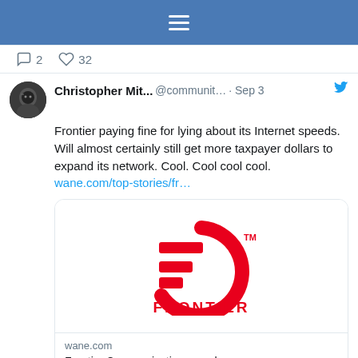≡ (hamburger menu icon)
2  32
Christopher Mit... @communit... · Sep 3
Frontier paying fine for lying about its Internet speeds. Will almost certainly still get more taxpayer dollars to expand its network. Cool. Cool cool cool. wane.com/top-stories/fr…
[Figure (logo): Frontier Communications logo in red: a stylized 'F' shape with a partial circle arc, and the word FRONTIER in red below]
wane.com
Frontier Communications reaches settlement with Indiana over internet